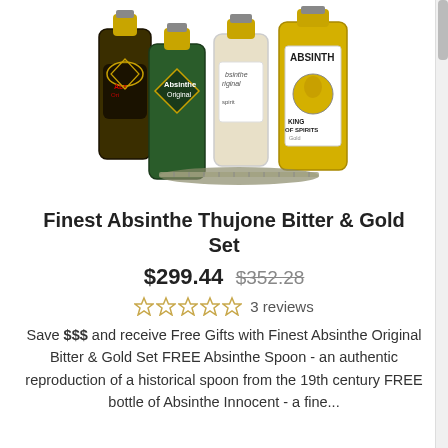[Figure (photo): Group of four absinthe bottles — dark bottle labeled 'Absinthe Original', green bottle labeled 'Absinthe Original', clear bottle labeled 'Absinthe Original', and yellow/gold bottle labeled 'ABSINTH King of Spirits'. An absinthe spoon is placed in front.]
Finest Absinthe Thujone Bitter & Gold Set
$299.44  $352.28
☆☆☆☆☆  3 reviews
Save $$$ and receive Free Gifts with Finest Absinthe Original Bitter & Gold Set FREE Absinthe Spoon - an authentic reproduction of a historical spoon from the 19th century FREE bottle of Absinthe Innocent - a fine...